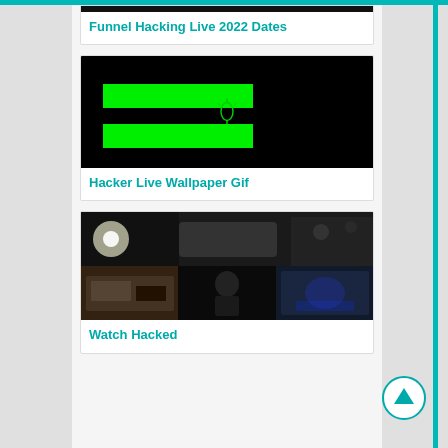[Figure (screenshot): Top partial card showing dark image strip for Funnel Hacking Live 2022 Dates article]
Funnel Hacking Live 2022 Dates
[Figure (screenshot): Black background image with Iranian flag simplified green bars and symbol in the center, representing Hacker Live Wallpaper Gif article]
Hacker Live Wallpaper Gif
[Figure (photo): Photo collage grid showing surveillance-style dark photos of rooms and shadowy figures for Watch Hacked article]
Watch Hacked